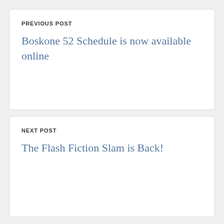PREVIOUS POST
Boskone 52 Schedule is now available online
NEXT POST
The Flash Fiction Slam is Back!